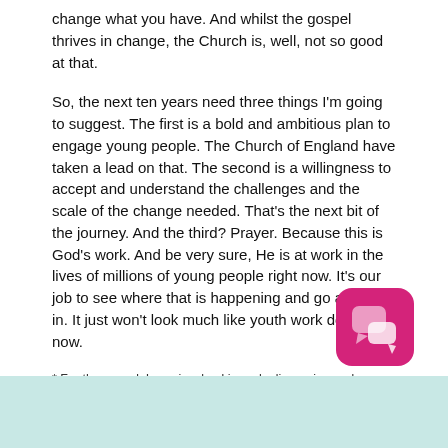change what you have. And whilst the gospel thrives in change, the Church is, well, not so good at that.
So, the next ten years need three things I'm going to suggest. The first is a bold and ambitious plan to engage young people. The Church of England have taken a lead on that. The second is a willingness to accept and understand the challenges and the scale of the change needed. That's the next bit of the journey. And the third? Prayer. Because this is God's work. And be very sure, He is at work in the lives of millions of young people right now. It's our job to see where that is happening and go and join in. It just won't look much like youth work does right now.
* For the record, I was involved in early discussion and planning for the strategy in 2020.
[Figure (logo): Pink/magenta rounded square logo icon with white speech bubble shapes inside]